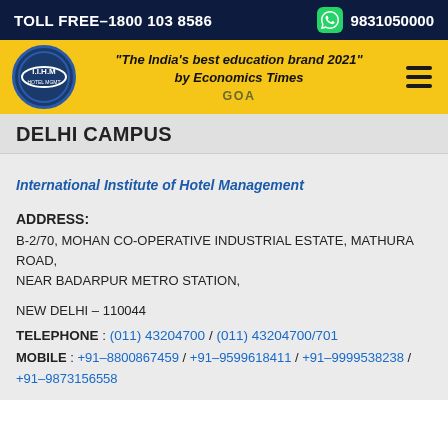TOLL FREE–1800 103 8586 | 9831050000
"The India's best education brand 2021" by Economics Times
GOA
DELHI CAMPUS
International Institute of Hotel Management
ADDRESS:
B-2/70, MOHAN CO-OPERATIVE INDUSTRIAL ESTATE, MATHURA ROAD,
NEAR BADARPUR METRO STATION,

NEW DELHI – 110044
TELEPHONE : (011) 43204700 / (011) 43204700/701
MOBILE : +91–8800867459 / +91–9599618411 / +91–9999538238 / +91–9873156558